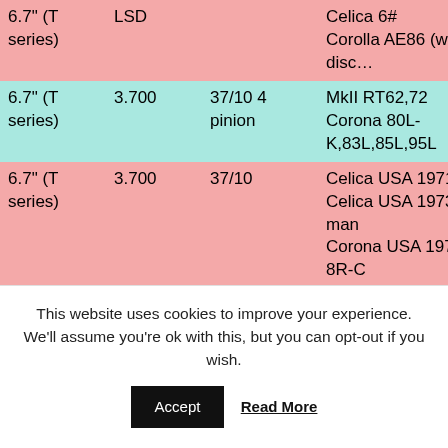| Ring size | Ratio | Ring/Pinion | Applications |
| --- | --- | --- | --- |
| 6.7" (T series) | LSD |  | Celica 6#
Corolla AE86 (with rear disc… |
| 6.7" (T series) | 3.700 | 37/10 4 pinion | MkII RT62,72
Corona 80L-K,83L,85L,95L |
| 6.7" (T series) | 3.700 | 37/10 | Celica USA 1971-72
Celica USA 1973 w/ man
Corona USA 1970 w/ 8R-C
Corona USA 1971-72
Corona USA 1973 sdn & HT w/ man
MkII USA 1971-72 (4 cyl) sdn & HT w/ man
Corona Sedan/Hardtop 12R… |
This website uses cookies to improve your experience. We'll assume you're ok with this, but you can opt-out if you wish.